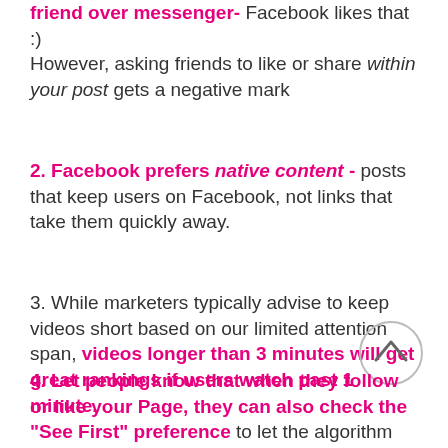friend over messenger- Facebook likes that :)
However, asking friends to like or share within your post gets a negative mark
2. Facebook prefers native content - posts that keep users on Facebook, not links that take them quickly away.
3. While marketers typically advise to keep videos short based on our limited attention span, videos longer than 3 minutes will get great rankings if users watch past 1 minute.
4. Let people know that when they follow or like your Page, they can also check the “See First” preference to let the algorithm know